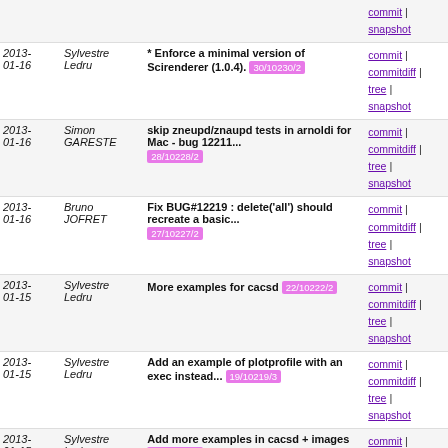| Date | Author | Message | Links |
| --- | --- | --- | --- |
| 2013-01-16 | Sylvestre Ledru | * Enforce a minimal version of Scirenderer (1.0.4). 30/10230/2 | commit | commitdiff | tree | snapshot |
| 2013-01-16 | Simon GARESTE | skip zneupd/znaupd tests in arnoldi for Mac - bug 12211... 28/10228/2 | commit | commitdiff | tree | snapshot |
| 2013-01-16 | Bruno JOFRET | Fix BUG#12219 : delete('all') should recreate a basic... 27/10227/2 | commit | commitdiff | tree | snapshot |
| 2013-01-15 | Sylvestre Ledru | More examples for cacsd 22/10222/2 | commit | commitdiff | tree | snapshot |
| 2013-01-15 | Sylvestre Ledru | Add an example of plotprofile with an exec instead... 19/10219/3 | commit | commitdiff | tree | snapshot |
| 2013-01-15 | Sylvestre Ledru | Add more examples in cacsd + images 18/10218/3 | commit | commitdiff | tree | snapshot |
| 2013-01-15 | Sylvestre Ledru | Remove useless docbook tag 17/10217/3 | commit | commitdiff | tree | snapshot |
| 2013-01-15 | Alexandre HERISSE | * Bug #12167 fixed - Text of ports in superblocks were... 10/10210/7 | commit | commitdiff | tree | snapshot |
| 2013-01-15 | Antoine ELIAS | add new symbols in nolibjvm for windows only 21/10221/1 | commit | commitdiff | tree | snapshot |
| 2013-01-15 | Antoine ELIAS | update nojvm windows project to export same symbols... 16/10216/2 | commit | commitdiff | tree | snapshot |